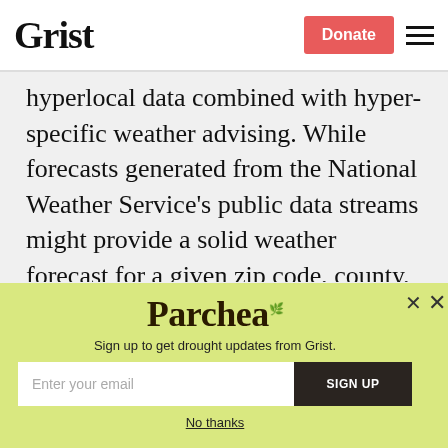Grist | Donate
hyperlocal data combined with hyper-specific weather advising. While forecasts generated from the National Weather Service's public data streams might provide a solid weather forecast for a given zip code, county, or a city, private weather companies claim to be able to narrow that information
Parchea
Sign up to get drought updates from Grist.
Enter your email | SIGN UP
No thanks